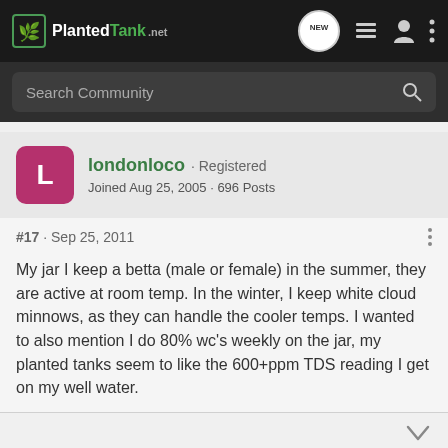PlantedTank — navigation bar with logo, NEW bubble, list icon, user icon, more icon
Search Community
londonloco · Registered
Joined Aug 25, 2005 · 696 Posts
#17 · Sep 25, 2011
My jar I keep a betta (male or female) in the summer, they are active at room temp. In the winter, I keep white cloud minnows, as they can handle the cooler temps. I wanted to also mention I do 80% wc's weekly on the jar, my planted tanks seem to like the 600+ppm TDS reading I get on my well water.